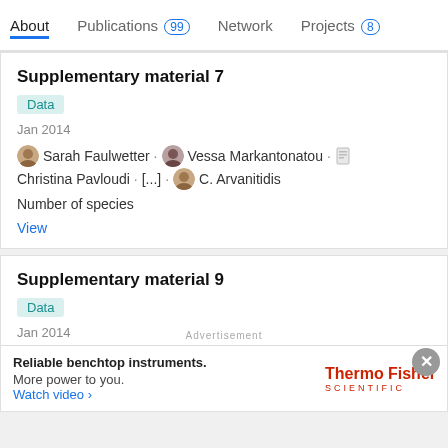About  Publications 99  Network  Projects 8
Supplementary material 7
Data
Jan 2014
Sarah Faulwetter · Vessa Markantonatou · Christina Pavloudi · [...] · C. Arvanitidis
Number of species
View
Supplementary material 9
Data
Jan 2014
Sarah Faulwetter · Vessa Markantonatou · Christina Pavloudi · [...] · C. Arvanitidis
Advertisement
Reliable benchtop instruments. More power to you. Watch video ›  ThermoFisher SCIENTIFIC